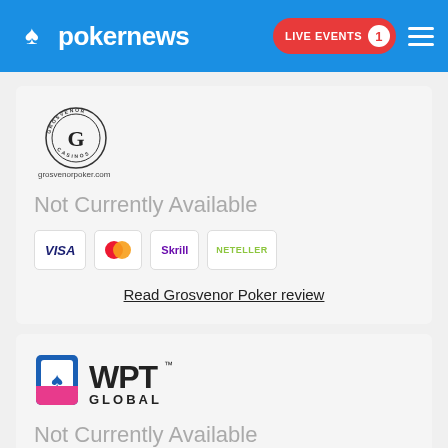pokernews — LIVE EVENTS 1
[Figure (logo): Grosvenor Casinos circular logo with G initial and grosvenorpoker.com text below]
Not Currently Available
[Figure (logo): Payment method icons: VISA, Mastercard, Skrill, Neteller]
Read Grosvenor Poker review
[Figure (logo): WPT Global logo with stylized card/flag icon and WPT GLOBAL text]
Not Currently Available